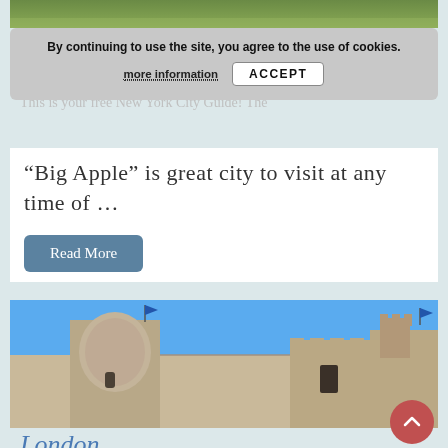[Figure (photo): Top strip showing green grass/field image, cropped to a narrow strip]
By continuing to use the site, you agree to the use of cookies.
more information   ACCEPT
New York
This is your free New York City Guide! The
"Big Apple" is great city to visit at any time of ...
Read More
[Figure (photo): Photo of Tower of London castle with stone towers and battlements against a clear blue sky]
London